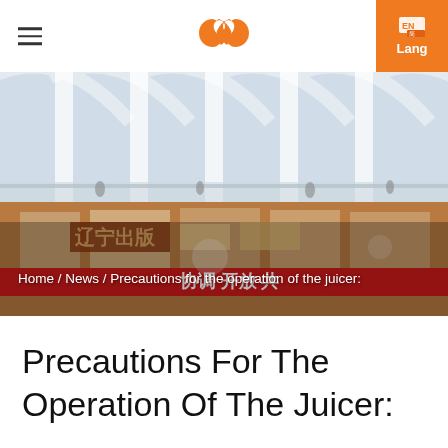Lang
[Figure (photo): Interior photo of a large exhibition hall with arched ceiling structure, multiple display booths, Chinese text banners, and a red promotional banner at the bottom reading Chinese characters.]
Home / News / Precautions for the operation of the juicer:
Precautions For The Operation Of The Juicer: